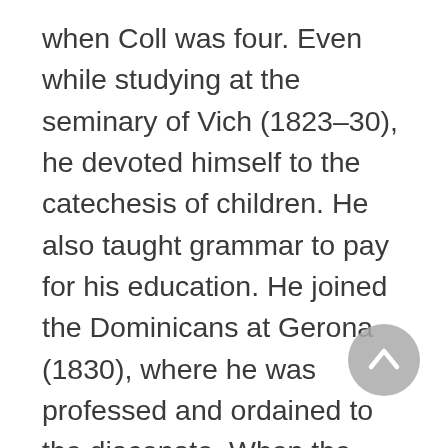when Coll was four. Even while studying at the seminary of Vich (1823–30), he devoted himself to the catechesis of children. He also taught grammar to pay for his education. He joined the Dominicans at Gerona (1830), where he was professed and ordained to the diaconate. When the friars were exclaustrated by the government (1835), Coll continued to live as a Dominican and was ordained priest (March 28, 1836) with the consent of his superiors. After serving